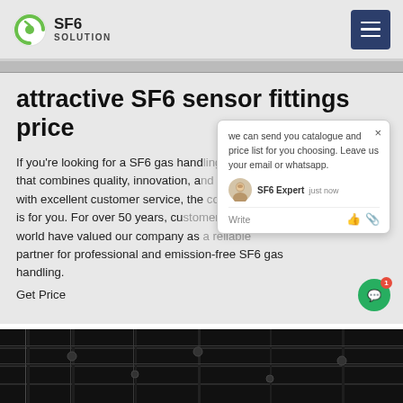[Figure (logo): SF6 Solution logo with green circular icon and text SF6 SOLUTION]
attractive SF6 sensor fittings price
If you're looking for a SF6 gas handling company that combines quality, innovation, and competitive prices with excellent customer service, the company is for you. For over 50 years, customers around the world have valued our company as a reliable partner for professional and emission-free SF6 gas handling.
Get Price
[Figure (screenshot): Chat popup widget showing: 'we can send you catalogue and price list for you choosing. Leave us your email or whatsapp.' with SF6 Expert agent avatar, 'just now' timestamp, Write field with thumbs up and paperclip icons. Green chat button with red badge showing 1.]
[Figure (photo): Dark industrial photograph of SF6 gas handling equipment, pipes and fittings on black background]